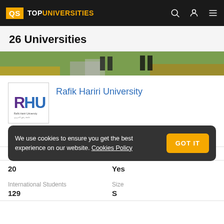QS TOP UNIVERSITIES
26 Universities
[Figure (photo): Campus outdoor photo showing people walking on a path with autumn leaves]
[Figure (logo): Rafik Hariri University logo - RHU letters in purple and blue]
Rafik Hariri University
Status
Research Output
We use cookies to ensure you get the best experience on our website. Cookies Policy
20
Yes
International Students
Size
129
S